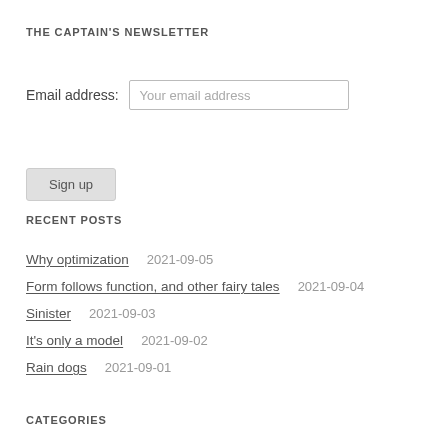THE CAPTAIN'S NEWSLETTER
Email address: Your email address
Sign up
RECENT POSTS
Why optimization    2021-09-05
Form follows function, and other fairy tales    2021-09-04
Sinister    2021-09-03
It's only a model    2021-09-02
Rain dogs    2021-09-01
CATEGORIES